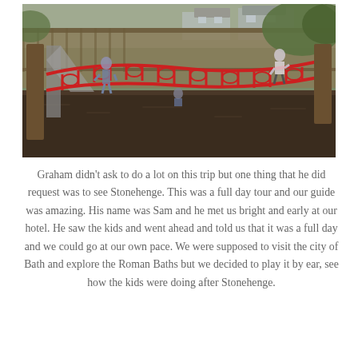[Figure (photo): Children playing on a red rope bridge playground structure with a slide and wooden fence in the background, over a wood chip ground surface.]
Graham didn't ask to do a lot on this trip but one thing that he did request was to see Stonehenge. This was a full day tour and our guide was amazing. His name was Sam and he met us bright and early at our hotel. He saw the kids and went ahead and told us that it was a full day and we could go at our own pace. We were supposed to visit the city of Bath and explore the Roman Baths but we decided to play it by ear, see how the kids were doing after Stonehenge.